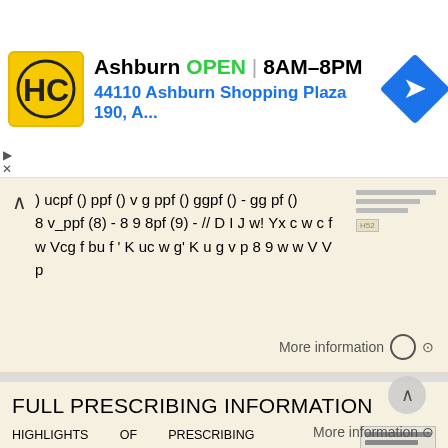[Figure (screenshot): Ad banner for Ashburn HC pharmacy showing logo, OPEN status, hours 8AM-8PM, address 44110 Ashburn Shopping Plaza 190, A., and navigation arrow icon]
) ucpf () ppf () v g ppf () ggpf () - gg pf () 8 v_ppf (8) - 8 9 8pf (9) - // D I J w! Yx c w c f w Vcg f bu f ' K uc w g' K u g v p 8 9 w w V V p
More information →
FULL PRESCRIBING INFORMATION
HIGHLIGHTS OF PRESCRIBING INFORMATION T gg f G f ffv S f pbg f f G G (p p j) INJECTION, GEL f INTRAMUSCULAR SUBCUTANEOUS I US Appv: 192 ----------------------------------------------INDICATIONS AND USAGE ------------------------------------------
More information →